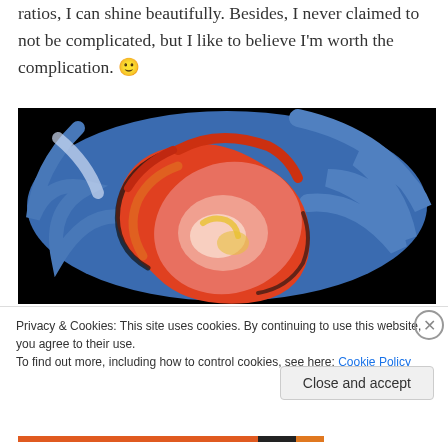ratios, I can shine beautifully. Besides, I never claimed to not be complicated, but I like to believe I'm worth the complication. 🙂
[Figure (illustration): Abstract painting with swirling red, orange, pink and blue colors, resembling a heart or storm vortex. Set against a blue background. Framed in black.]
Privacy & Cookies: This site uses cookies. By continuing to use this website, you agree to their use.
To find out more, including how to control cookies, see here: Cookie Policy
Close and accept